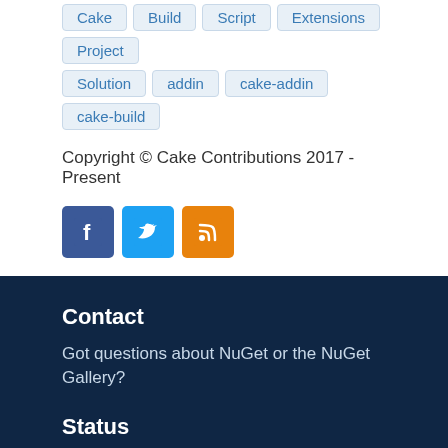Cake
Build
Script
Extensions
Project
Solution
addin
cake-addin
cake-build
Copyright © Cake Contributions 2017 - Present
[Figure (illustration): Social media icons: Facebook (blue), Twitter (light blue), RSS feed (orange)]
Contact
Got questions about NuGet or the NuGet Gallery?
Status
Find out the service status of NuGet.org and its related